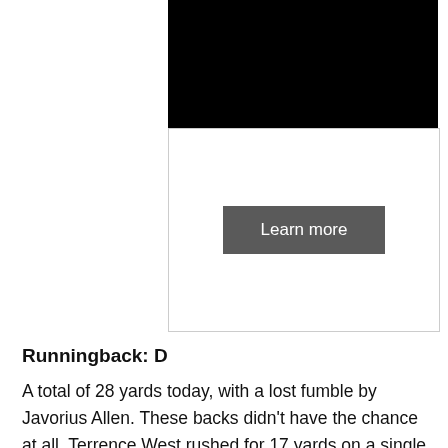[Figure (other): Black video thumbnail or image at the top center of the page]
[Figure (other): White box with a 'Learn more' dark grey button centered inside, bordered with light grey]
Runningback: D
A total of 28 yards today, with a lost fumble by Javorius Allen. These backs didn't have the chance at all. Terrence West rushed for 17 yards on a single play. He finished with a total of 16 yards. The running game also needs lineman, and there are damn near none left for Baltimore either.
Offensive Line: F
Giving up three sacks, helping the run game to less than thirty total yards. You fail. Short and simple.